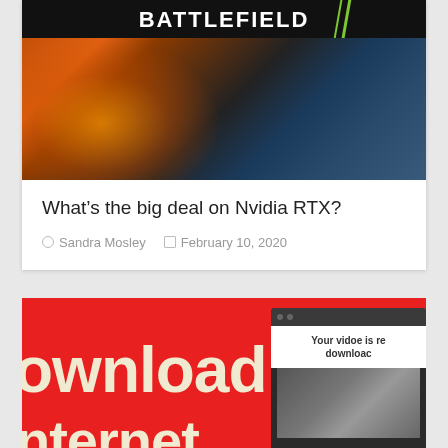[Figure (screenshot): Battlefield V game promotional image with RTX branding, showing burning military vehicles against a dark background]
What's the big deal on Nvidia RTX?
Sandra Mosley   February 10, 2020
[Figure (screenshot): Red banner advertisement showing 'download' text in large cream letters with a phone mockup overlay showing 'Your vidoe is ready to be downloaded' message]